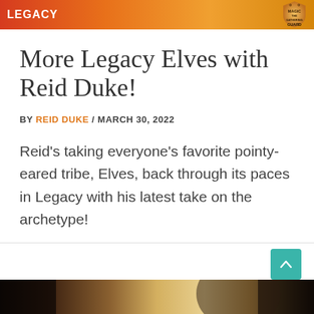LEGACY
More Legacy Elves with Reid Duke!
BY REID DUKE / MARCH 30, 2022
Reid’s taking everyone’s favorite pointy-eared tribe, Elves, back through its paces in Legacy with his latest take on the archetype!
[Figure (photo): Partial photo strip at the bottom of the page, showing a dark background with warm tones and partial figure]